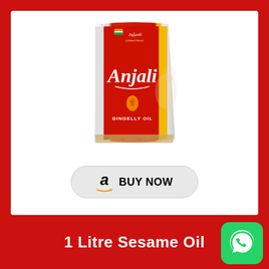[Figure (photo): Anjali Gingelly Oil 1 litre pouch bag with red and white packaging showing the Anjali brand name in cursive white letters on red background, with Tamil text at top, a droplet logo, and GINGELLY OIL text at bottom, sesame seeds visible at base]
[Figure (illustration): Amazon 'BUY NOW' button with Amazon lowercase 'a' logo with arrow and the text BUY NOW in black on a light gray rounded rectangle button]
1 Litre Sesame Oil
[Figure (logo): WhatsApp green rounded square logo with white phone handset icon, positioned at bottom right corner]